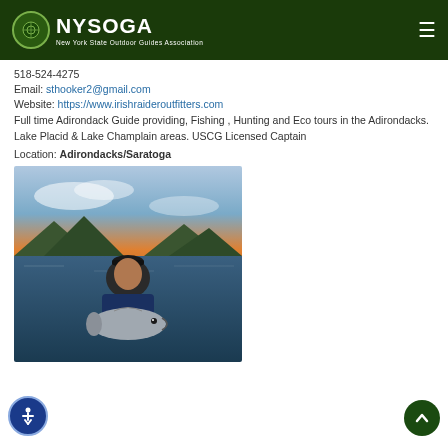NYSOGA - New York State Outdoor Guides Association
518-524-4275
Email: sthooker2@gmail.com
Website: https://www.irishraideroutfitters.com
Full time Adirondack Guide providing, Fishing , Hunting and Eco tours in the Adirondacks. Lake Placid & Lake Champlain areas. USCG Licensed Captain
Location: Adirondacks/Saratoga
[Figure (photo): A man wearing a dark baseball cap and blue shirt, holding a large fish (walleye or similar) on a boat on a lake, with mountains and a cloudy sky in the background at dusk.]